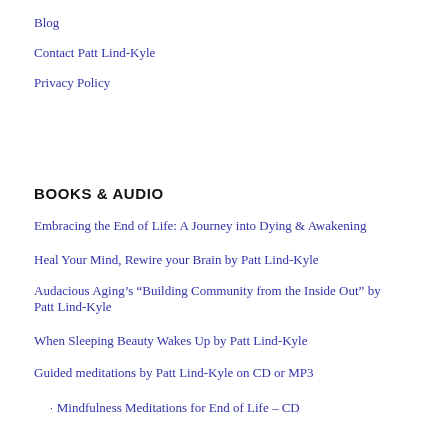Blog
Contact Patt Lind-Kyle
Privacy Policy
BOOKS & AUDIO
Embracing the End of Life: A Journey into Dying & Awakening
Heal Your Mind, Rewire your Brain by Patt Lind-Kyle
Audacious Aging’s “Building Community from the Inside Out” by Patt Lind-Kyle
When Sleeping Beauty Wakes Up by Patt Lind-Kyle
Guided meditations by Patt Lind-Kyle on CD or MP3
Mindfulness Meditations for End of Life – CD